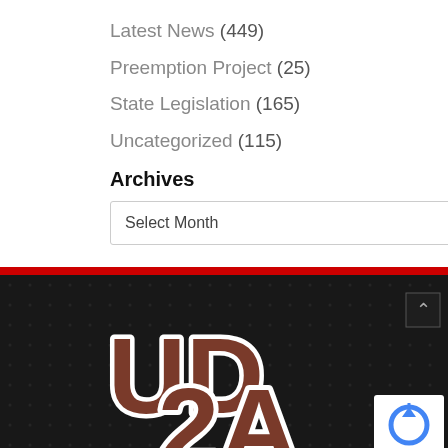Latest News (449)
Preemption Project (25)
State Legislation (165)
Uncategorized (115)
Archives
Select Month
[Figure (logo): UD2A logo in brown/white on dark background, footer area of a website]